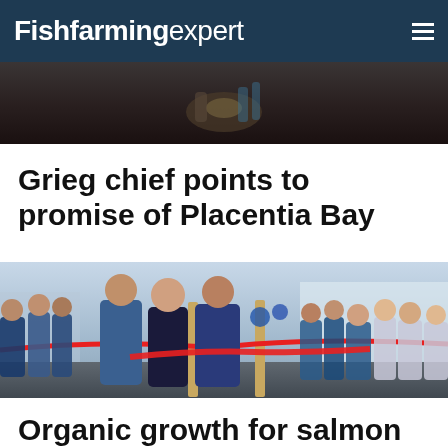Fishfarming expert
[Figure (photo): Partial cropped photo at top of page, dark background with hands visible]
Grieg chief points to promise of Placentia Bay
[Figure (photo): Photo of three people cutting a red ribbon at an outdoor facility opening ceremony, with crowd in background wearing blue uniforms]
Organic growth for salmon